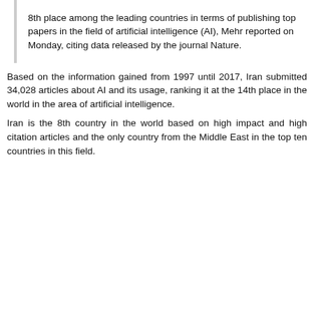8th place among the leading countries in terms of publishing top papers in the field of artificial intelligence (AI), Mehr reported on Monday, citing data released by the journal Nature.
Based on the information gained from 1997 until 2017, Iran submitted 34,028 articles about AI and its usage, ranking it at the 14th place in the world in the area of artificial intelligence.
Iran is the 8th country in the world based on high impact and high citation articles and the only country from the Middle East in the top ten countries in this field.